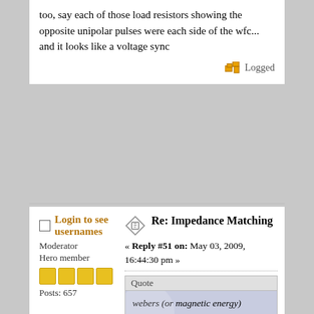too, say each of those load resistors showing the opposite unipolar pulses were each side of the wfc... and it looks like a voltage sync
Logged
Login to see usernames
Moderator
Hero member
Posts: 657
Re: Impedance Matching
« Reply #51 on: May 03, 2009, 16:44:30 pm »
Quote
webers (or magnetic energy) increases, with each pulse more energy in core, as a result voltage steps up on output. In this case, the step charge could be seen on the output without a wfc connected:
this is not how inductors work... it would be lovely but